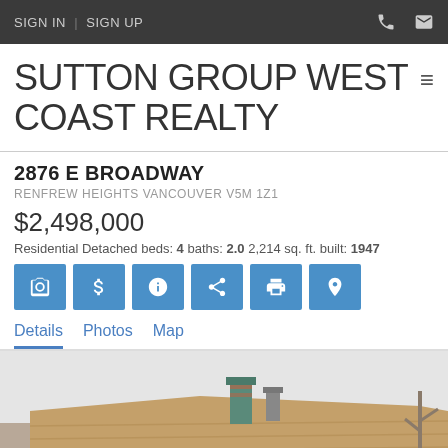SIGN IN  |  SIGN UP
SUTTON GROUP WEST COAST REALTY
2876 E BROADWAY
RENFREW HEIGHTS VANCOUVER V5M 1Z1
$2,498,000
Residential Detached beds: 4 baths: 2.0 2,214 sq. ft. built: 1947
[Figure (screenshot): Six blue icon buttons: camera, dollar sign, info, share, print, location pin]
Details  Photos  Map
[Figure (photo): Exterior photo of a residential detached house rooftop with chimneys under an overcast sky]